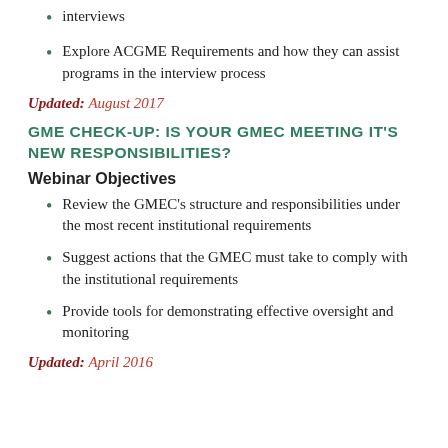interviews
Explore ACGME Requirements and how they can assist programs in the interview process
Updated: August 2017
GME CHECK-UP: IS YOUR GMEC MEETING IT'S NEW RESPONSIBILITIES?
Webinar Objectives
Review the GMEC's structure and responsibilities under the most recent institutional requirements
Suggest actions that the GMEC must take to comply with the institutional requirements
Provide tools for demonstrating effective oversight and monitoring
Updated: April 2016